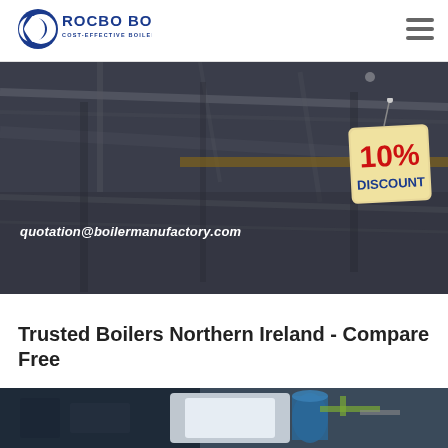[Figure (logo): Rocbo Boiler logo with crescent C shape and text 'ROCBO BOILER / COST-EFFECTIVE BOILER SUPPLIER' in blue]
[Figure (other): Hamburger menu icon (three horizontal lines)]
[Figure (photo): Dark industrial hero banner showing a boiler factory/warehouse interior with steel structures, dark gray tones]
quotation@boilermanufactory.com
[Figure (illustration): 10% DISCOUNT badge/sign hanging from a string, with red text '10%' and blue text 'DISCOUNT' on a beige tag]
Trusted Boilers Northern Ireland - Compare Free
[Figure (photo): Partial bottom strip of photo showing industrial boiler machinery equipment]